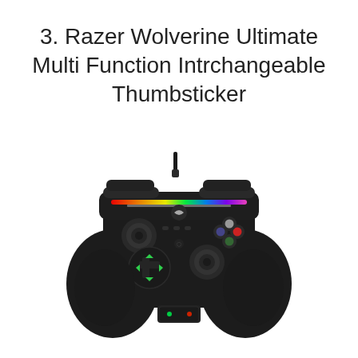3. Razer Wolverine Ultimate Multi Function Intrchangeable Thumbsticker
[Figure (photo): Razer Wolverine Ultimate gaming controller in black, shown from the front, with a braided USB cable at the top, RGB lighting strip across the top panel, Xbox logo button in the center, two analog thumbsticks, a green-lit directional pad on the left, face buttons on the right, and a small audio/volume panel at the bottom.]